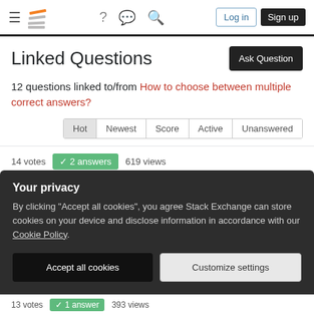Stack Exchange navigation header with logo, icons, Log in, Sign up buttons
Linked Questions
12 questions linked to/from How to choose between multiple correct answers?
Hot | Newest | Score | Active | Unanswered
14 votes  ✓ 2 answers  619 views
Should I accept the solution to my problem or the most
Your privacy
By clicking "Accept all cookies", you agree Stack Exchange can store cookies on your device and disclose information in accordance with our Cookie Policy.
Accept all cookies  Customize settings